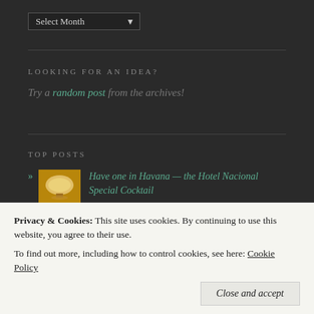Select Month
LOOKING FOR AN IDEA?
Try a random post from the archives!
TOP POSTS
Have one in Havana — the Hotel Nacional Special Cocktail
Privacy & Cookies: This site uses cookies. By continuing to use this website, you agree to their use. To find out more, including how to control cookies, see here: Cookie Policy
Close and accept